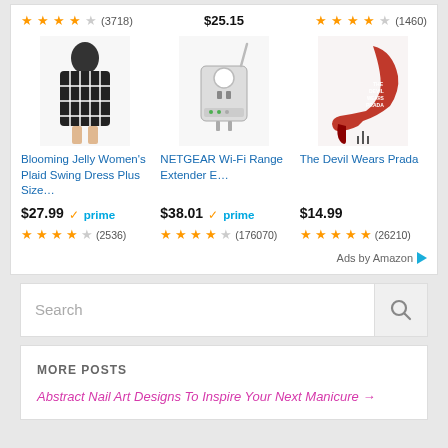[Figure (screenshot): Amazon ad panel showing three products: Blooming Jelly Women's Plaid Swing Dress, NETGEAR Wi-Fi Range Extender, The Devil Wears Prada. Each has an image, title, price, prime badge, and star ratings.]
Search
MORE POSTS
Abstract Nail Art Designs To Inspire Your Next Manicure →